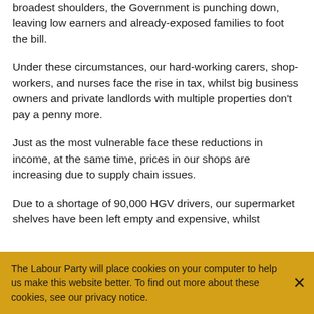broadest shoulders, the Government is punching down, leaving low earners and already-exposed families to foot the bill.
Under these circumstances, our hard-working carers, shop-workers, and nurses face the rise in tax, whilst big business owners and private landlords with multiple properties don't pay a penny more.
Just as the most vulnerable face these reductions in income, at the same time, prices in our shops are increasing due to supply chain issues.
Due to a shortage of 90,000 HGV drivers, our supermarket shelves have been left empty and expensive, whilst
The Labour Party will place cookies on your computer to help us make this website better. To find out more about these cookies, see our privacy notice.